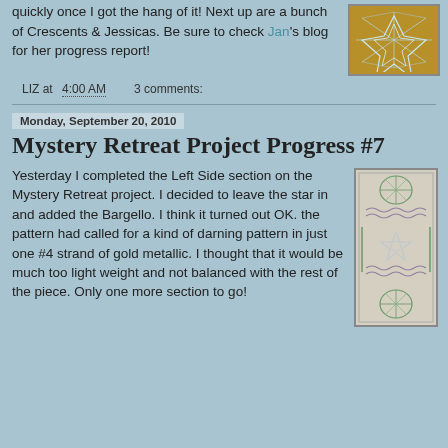quickly once I got the hang of it! Next up are a bunch of Crescents & Jessicas. Be sure to check Jan's blog for her progress report!
[Figure (photo): Needlework/embroidery piece on gold/brown background with geometric star pattern in white/teal thread]
LIZ at 4:00 AM   3 comments:
Monday, September 20, 2010
Mystery Retreat Project Progress #7
Yesterday I completed the Left Side section on the Mystery Retreat project. I decided to leave the star in and added the Bargello. I think it turned out OK. the pattern had called for a kind of darning pattern in just one #4 strand of gold metallic. I thought that it would be much too light weight and not balanced with the rest of the piece. Only one more section to go!
[Figure (photo): Tall narrow needlework piece with green, purple and white geometric and floral patterns on light background]